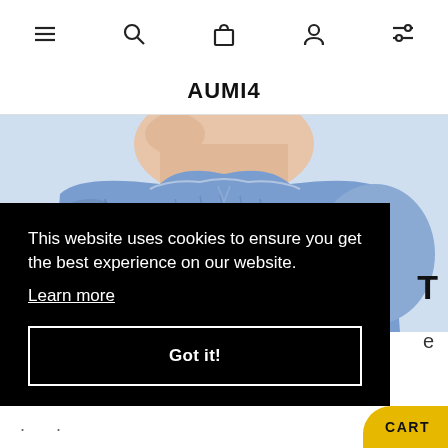Navigation bar with menu, search, bag, account, and filter icons
AUMI4
[Figure (photo): Close-up photo of a woman wearing a blue flowy off-shoulder blouse with gathered fabric and a tie at the neckline]
This website uses cookies to ensure you get the best experience on our website. Learn more
Got it!